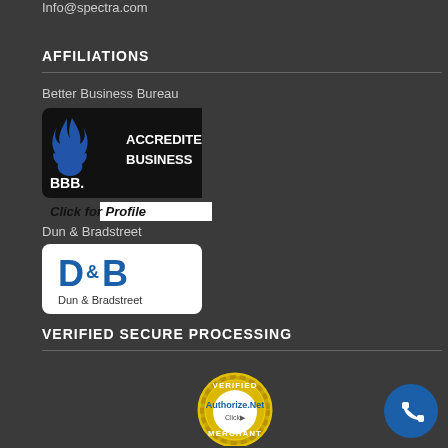Info@spectra.com
AFFILIATIONS
Better Business Bureau
[Figure (logo): BBB Accredited Business badge - black background with BBB flame logo and text ACCREDITED BUSINESS]
Click for Profile
Dun & Bradstreet
[Figure (logo): Dun & Bradstreet logo - white background with blue D&B letters and Dun & Bradstreet text]
VERIFIED SECURE PROCESSING
[Figure (logo): Authorize.Net Verified Merchant seal - gold circular badge with VERIFIED text at top, Authorize.Net in center, Click arrow, and MERCHANT at bottom]